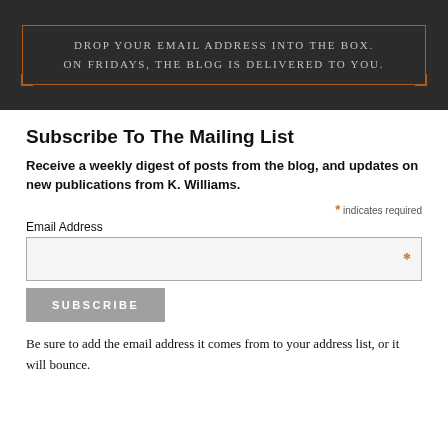[Figure (illustration): Dark banner with orange border and small-caps text: 'Drop your email address into the box. On Fridays, the Blog is delivered to You.']
Subscribe To The Mailing List
Receive a weekly digest of posts from the blog, and updates on new publications from K. Williams.
* indicates required
Email Address
SUBSCRIBE
Be sure to add the email address it comes from to your address list, or it will bounce.